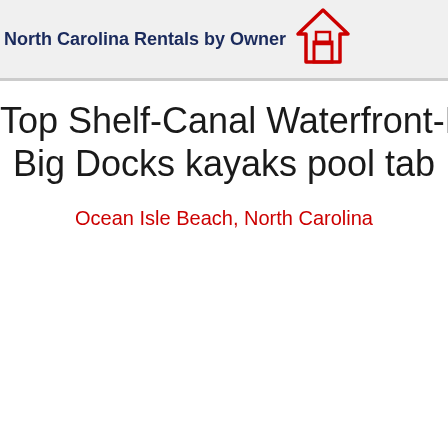North Carolina Rentals by Owner
Top Shelf-Canal Waterfront-Private Poo Big Docks kayaks pool tab
Ocean Isle Beach, North Carolina